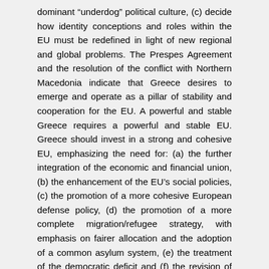dominant “underdog” political culture, (c) decide how identity conceptions and roles within the EU must be redefined in light of new regional and global problems. The Prespes Agreement and the resolution of the conflict with Northern Macedonia indicate that Greece desires to emerge and operate as a pillar of stability and cooperation for the EU. A powerful and stable Greece requires a powerful and stable EU. Greece should invest in a strong and cohesive EU, emphasizing the need for: (a) the further integration of the economic and financial union, (b) the enhancement of the EU’s social policies, (c) the promotion of a more cohesive European defense policy, (d) the promotion of a more complete migration/refugee strategy, with emphasis on fairer allocation and the adoption of a common asylum system, (e) the treatment of the democratic deficit and (f) the revision of the Treaties and their replacement with a single constitutional treaty that is understandable by the citizens of the EU.